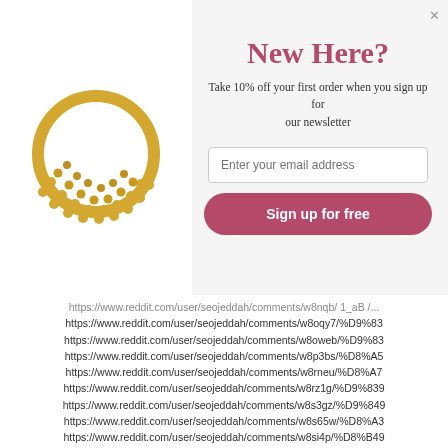[Figure (photo): Gold decorative ring/jewelry piece with dot pattern, shown on white background in left panel of modal]
New Here?
Take 10% off your first order when you sign up for our newsletter
Enter your email address
Sign up for free
https://www.reddit.com/user/seojeddah/comments/w8nqb/ 1_aB /...
https://www.reddit.com/user/seojeddah/comments/w8oqy7/%D9%83
https://www.reddit.com/user/seojeddah/comments/w8oweb/%D9%83
https://www.reddit.com/user/seojeddah/comments/w8p3bs/%D8%A5
https://www.reddit.com/user/seojeddah/comments/w8rneu/%D8%A7
https://www.reddit.com/user/seojeddah/comments/w8rz1g/%D9%839
https://www.reddit.com/user/seojeddah/comments/w8s3gz/%D9%849
https://www.reddit.com/user/seojeddah/comments/w8s65w/%D8%A3
https://www.reddit.com/user/seojeddah/comments/w8si4p/%D8%B49
https://www.reddit.com/user/seojeddah/comments/w8sn1n/%D9%86
https://www.reddit.com/user/seojeddah/comments/w8ssgn/%D8%A7